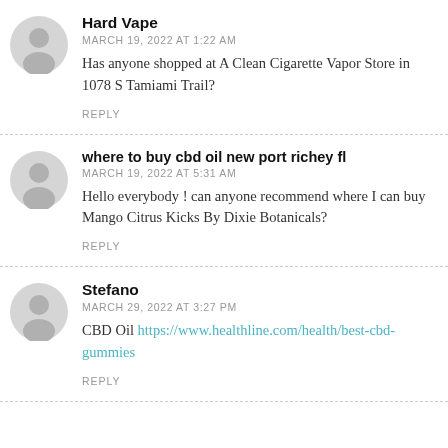Hard Vape
MARCH 19, 2022 AT 1:22 AM
Has anyone shopped at A Clean Cigarette Vapor Store in 1078 S Tamiami Trail?
REPLY
where to buy cbd oil new port richey fl
MARCH 19, 2022 AT 5:31 AM
Hello everybody ! can anyone recommend where I can buy Mango Citrus Kicks By Dixie Botanicals?
REPLY
Stefano
MARCH 29, 2022 AT 3:27 PM
CBD Oil https://www.healthline.com/health/best-cbd-gummies
REPLY